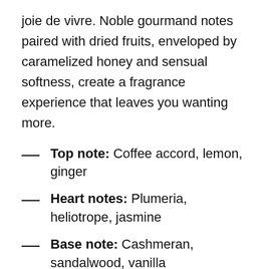joie de vivre. Noble gourmand notes paired with dried fruits, enveloped by caramelized honey and sensual softness, create a fragrance experience that leaves you wanting more.
Top note: Coffee accord, lemon, ginger
Heart notes: Plumeria, heliotrope, jasmine
Base note: Cashmeran, sandalwood, vanilla
unisex – floriental – woody
'My inspiration was the exotic places of Costa Rica. Pristine beaches and the green, woody notes of plantation forests. The focus is on the aroma of roasted coffee. 'El Grano de Oro', as coffee is called in Costa Rica, is emblematic of this country, whose